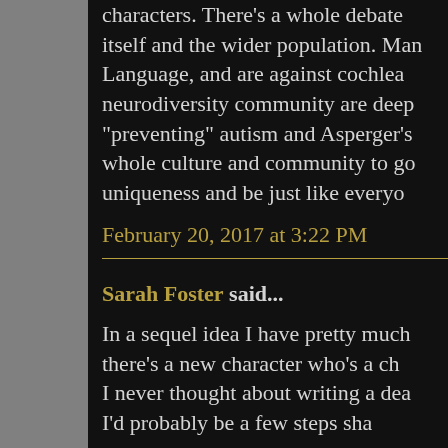characters. There's a whole debate itself and the wider population. Man Language, and are against cochlea neurodiversity community are deep "preventing" autism and Asperger's whole culture and community to go uniqueness and be just like everyo
February 20, 2017 at 3:22 PM
Sarah Foster said...
In a sequel idea I have pretty much there's a new character who's a ch I never thought about writing a dea I'd probably be a few steps sha...